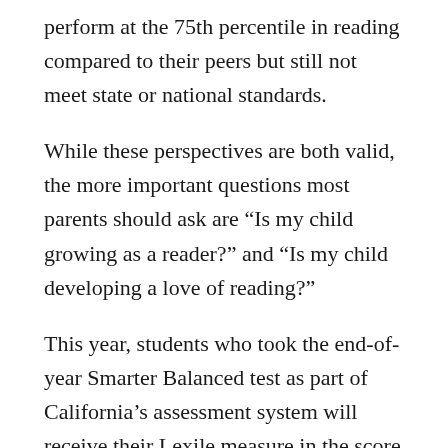perform at the 75th percentile in reading compared to their peers but still not meet state or national standards.
While these perspectives are both valid, the more important questions most parents should ask are “Is my child growing as a reader?” and “Is my child developing a love of reading?”
This year, students who took the end-of-year Smarter Balanced test as part of California’s assessment system will receive their Lexile measure in the score reports sent to families. The Lexile Framework for Reading places student reading ability and the complexity of books and instructional materials